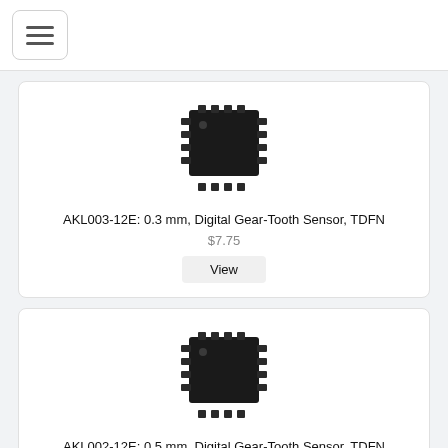[Figure (screenshot): Hamburger menu button with three horizontal lines, rounded rectangle border]
[Figure (photo): Black IC chip package (TDFN) for AKL003-12E, small square with leads on sides and a dot marking]
AKL003-12E: 0.3 mm, Digital Gear-Tooth Sensor, TDFN
$7.75
View
[Figure (photo): Black IC chip package (TDFN) for AKL002-12E, small square with leads on sides and a dot marking]
AKL002-12E: 0.5 mm, Digital Gear-Tooth Sensor, TDFN
$7.75
View